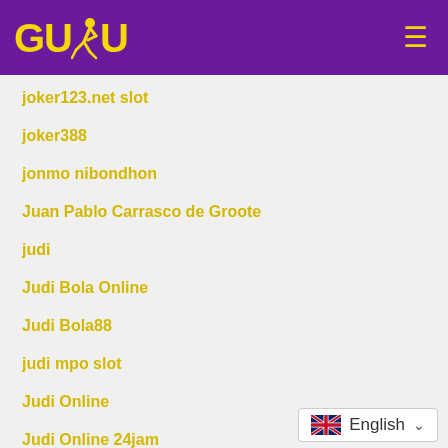GUDU [logo with runner icon] ☰
joker123.net slot
joker388
jonmo nibondhon
Juan Pablo Carrasco de Groote
judi
Judi Bola Online
Judi Bola88
judi mpo slot
Judi Online
Judi Online 24jam
judi online android
judi online ceme
judi online deposit pulsa
English